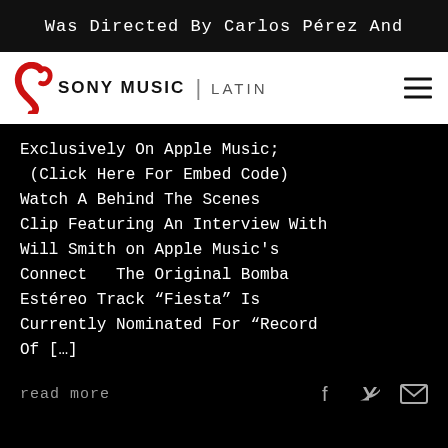Was Directed By Carlos Pérez And
[Figure (logo): Sony Music Latin logo with red swirl icon, bold 'SONY MUSIC' text, divider, and 'LATIN' text. Hamburger menu icon on right.]
Exclusively On Apple Music;
 (Click Here For Embed Code)
Watch A Behind The Scenes
Clip Featuring An Interview With
Will Smith on Apple Music's
Connect   The Original Bomba
Estéreo Track “Fiesta” Is
Currently Nominated For “Record
Of […]
read more
[Figure (illustration): Social sharing icons: Facebook, Twitter, and email/envelope icons in grey on black background.]